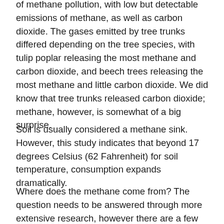of methane pollution, with low but detectable emissions of methane, as well as carbon dioxide. The gases emitted by tree trunks differed depending on the tree species, with tulip poplar releasing the most methane and carbon dioxide, and beech trees releasing the most methane and little carbon dioxide. We did know that tree trunks released carbon dioxide; methane, however, is somewhat of a big surprise.
Soil is usually considered a methane sink. However, this study indicates that beyond 17 degrees Celsius (62 Fahrenheit) for soil temperature, consumption expands dramatically.
Where does the methane come from? The question needs to be answered through more extensive research, however there are a few possible answers suggested by the University of Delaware team: one is that, as in wetlands, in uplands there are places where methane is taken in through the roots and released through the trunk from...